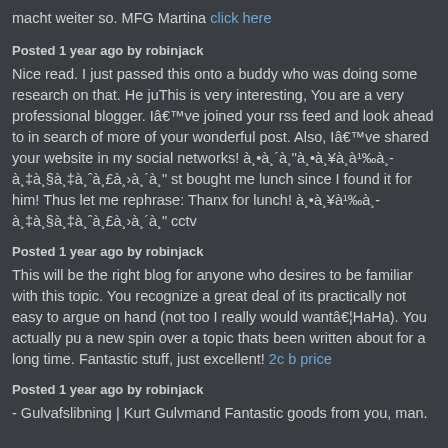macht weiter so. MFG Martina click here
Posted 1 year ago by robinjack
Nice read. I just passed this onto a buddy who was doing some research on that. He juThis is very interesting, You are a very professional blogger. Iâ€™ve joined your rss feed and look ahead to in search of more of your wonderful post. Also, Iâ€™ve shared your website in my social networks! à¸•à¸´à¸"à¸•à¸¥à¸à¹‰à¸- à¸‡à¸§à¸‡à¸ˆà¸£à¸›à¸´à¸" st bought me lunch since I found it for him! Thus let me rephrase: Thanx for lunch! à¸•à¸¥à¹‰à¸- à¸‡à¸§à¸‡à¸ˆà¸£à¸›à¸´à¸" cctv
Posted 1 year ago by robinjack
This will be the right blog for anyone who desires to be familiar with this topic. You recognize a great deal of its practically not easy to argue on hand (not too I really would wantâ€¦HaHa). You actually put a new spin over a topic thats been written about for a long time. Fantastic stuff, just excellent! 2c b price
Posted 1 year ago by robinjack
- Gulvafslibning | Kurt Gulvmand Fantastic goods from you, man.